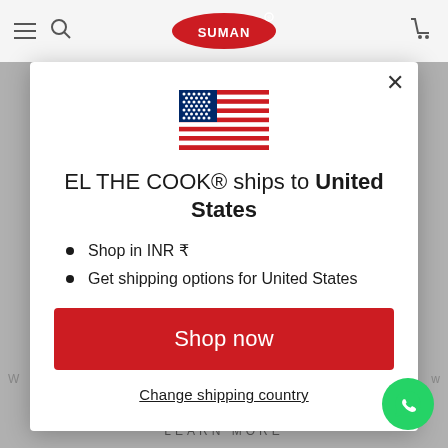[Figure (screenshot): Background of a shopping website partially visible behind a modal dialog, with a logo at the top and 'LEARN MORE' text at the bottom]
[Figure (illustration): United States flag emoji/icon displayed at the top center of the modal]
EL THE COOK® ships to United States
Shop in INR ₹
Get shipping options for United States
Shop now
Change shipping country